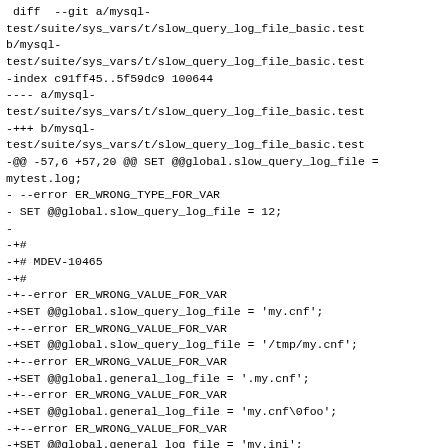diff --git a/mysql-test/suite/sys_vars/t/slow_query_log_file_basic.test b/mysql-test/suite/sys_vars/t/slow_query_log_file_basic.test
-index c91ff45..5f59dc9 100644
---- a/mysql-test/suite/sys_vars/t/slow_query_log_file_basic.test
-+++ b/mysql-test/suite/sys_vars/t/slow_query_log_file_basic.test
-@@ -57,6 +57,20 @@ SET @@global.slow_query_log_file = mytest.log;
- --error ER_WRONG_TYPE_FOR_VAR
- SET @@global.slow_query_log_file = 12;
- 
-+#
-+# MDEV-10465
-+#
-+--error ER_WRONG_VALUE_FOR_VAR
-+SET @@global.slow_query_log_file = 'my.cnf';
-+--error ER_WRONG_VALUE_FOR_VAR
-+SET @@global.slow_query_log_file = '/tmp/my.cnf';
-+--error ER_WRONG_VALUE_FOR_VAR
-+SET @@global.general_log_file = '.my.cnf';
-+--error ER_WRONG_VALUE_FOR_VAR
-+SET @@global.general_log_file = 'my.cnf\0foo';
-+--error ER_WRONG_VALUE_FOR_VAR
-+SET @@global.general_log_file = 'my.ini';
-+
- --echo '#------------------------FN_DYNVARS_004_03--------------------#'